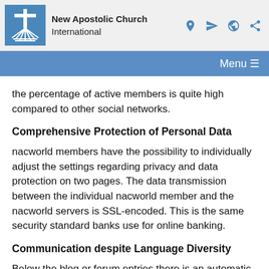New Apostolic Church International
the percentage of active members is quite high compared to other social networks.
Comprehensive Protection of Personal Data
nacworld members have the possibility to individually adjust the settings regarding privacy and data protection on two pages. The data transmission between the individual nacworld member and the nacworld servers is SSL-encoded. This is the same security standard banks use for online banking.
Communication despite Language Diversity
Below the blog or forum entries there is an automatic translation function that makes the communication in